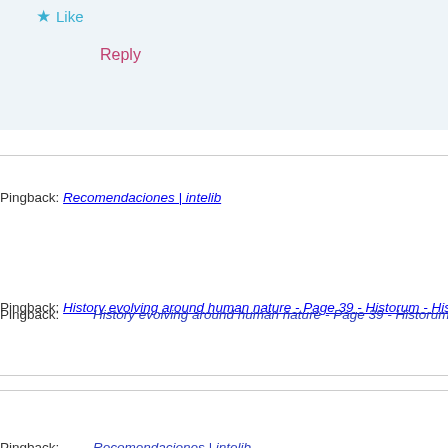★ Like
Reply
Pingback: History evolving around human nature - Page 39 - Historum - Histo...
Pingback: Recomendaciones | intelib
Pingback: Slaying Alexander's Moloch | Nintil
Pingback: The Costs of Ethnic Diversity with Garett Jones - The Economics D...